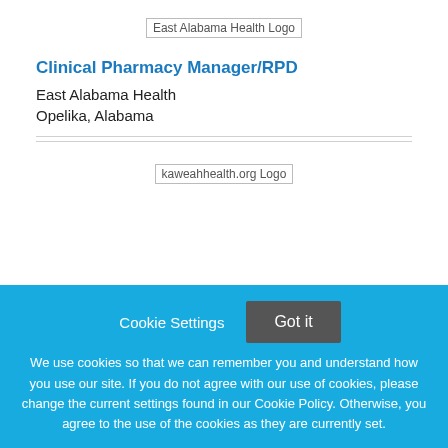[Figure (logo): East Alabama Health Logo placeholder image]
Clinical Pharmacy Manager/RPD
East Alabama Health
Opelika, Alabama
[Figure (logo): kaweahhealth.org Logo placeholder image]
Cookie Settings
Got it
We use cookies so that we can remember you and understand how you use our site. If you do not agree with our use of cookies, please change the current settings found in our Cookie Policy. Otherwise, you agree to the use of the cookies as they are currently set.